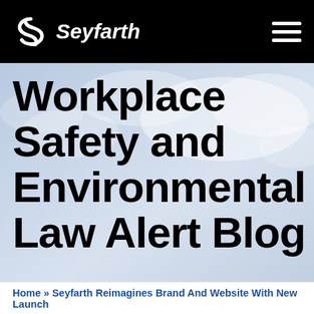Seyfarth
[Figure (screenshot): Seyfarth law firm website header with black navigation bar showing the Seyfarth logo (stylized S and Seyfarth text in italic) on the left and a hamburger menu icon on the right]
Workplace Safety and Environmental Law Alert Blog
Home » Seyfarth Reimagines Brand And Website With New Launch